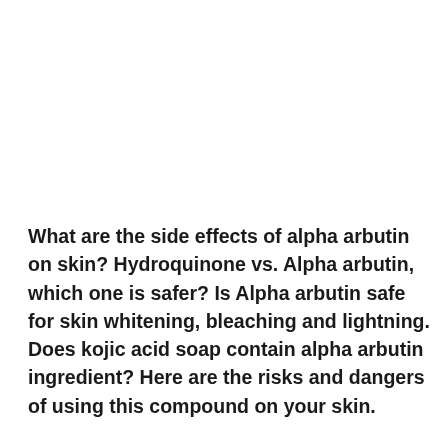What are the side effects of alpha arbutin on skin? Hydroquinone vs. Alpha arbutin, which one is safer? Is Alpha arbutin safe for skin whitening, bleaching and lightning. Does kojic acid soap contain alpha arbutin ingredient? Here are the risks and dangers of using this compound on your skin.
Women and men desiring to have a whiter skin,